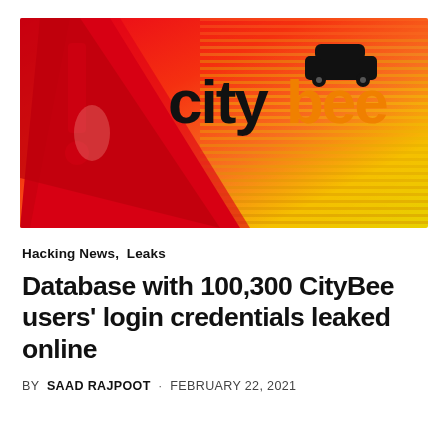[Figure (photo): CityBee logo on a gradient red-orange-yellow background with a triangular red shape on the left side. The logo shows 'citybee' in black text with an orange 'bee' portion and a small car icon on top.]
Hacking News,  Leaks
Database with 100,300 CityBee users' login credentials leaked online
BY  SAAD RAJPOOT  ·  FEBRUARY 22, 2021